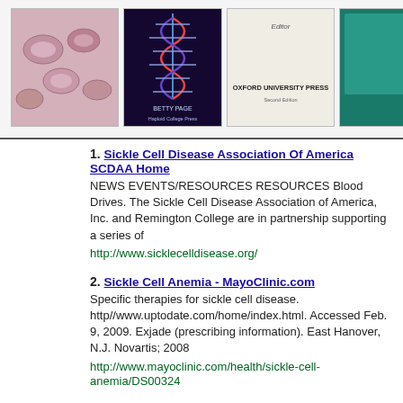[Figure (illustration): Top banner with 4 book/image thumbnails: sickle cells microscopy image, DNA double helix book cover (Betty Page), Oxford University Press book with Editor label, and a teal-colored book cover]
1. Sickle Cell Disease Association Of America SCDAA Home
NEWS EVENTS/RESOURCES RESOURCES Blood Drives. The Sickle Cell Disease Association of America, Inc. and Remington College are in partnership supporting a series of
http://www.sicklecelldisease.org/
2. Sickle Cell Anemia - MayoClinic.com
Specific therapies for sickle cell disease. http//www.uptodate.com/home/index.html. Accessed Feb. 9, 2009. Exjade (prescribing information). East Hanover, N.J. Novartis; 2008
http://www.mayoclinic.com/health/sickle-cell-anemia/DS00324
3. Sickle Cell Disease Association Of Illinois
Seeks to enhance the quality of life for people with sickle cell disease and their families. Includes information on healthcare programs and services, events calendar, and contacts.